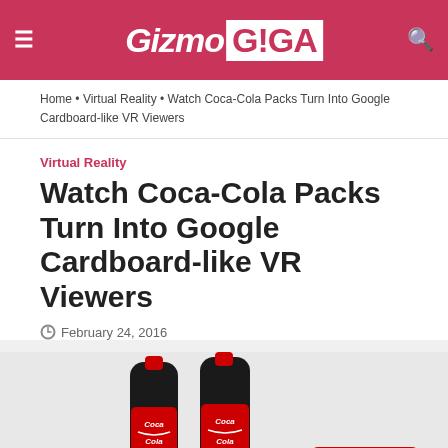Gizmo GIGA
Home • Virtual Reality • Watch Coca-Cola Packs Turn Into Google Cardboard-like VR Viewers
Virtual Reality
Watch Coca-Cola Packs Turn Into Google Cardboard-like VR Viewers
February 24, 2016
[Figure (photo): Photo showing two Coca-Cola bottles and a hand holding a Google Cardboard-like VR viewer made from Coca-Cola packaging]